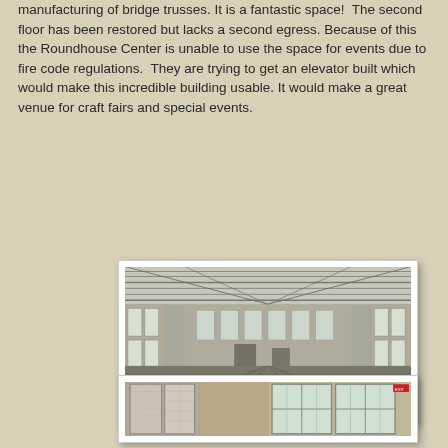manufacturing of bridge trusses. It is a fantastic space!  The second floor has been restored but lacks a second egress.  Because of this the Roundhouse Center is unable to use the space for events due to fire code regulations.  They are trying to get an elevator built which would make this incredible building usable. It would make a great venue for craft fairs and special events.
[Figure (photo): Interior photo of a large restored second floor space with high ceilings featuring exposed structural elements, rows of windows on both sides, and a gravel or concrete floor. The space stretches back in perspective showing the length of the building.]
[Figure (photo): Interior photo showing doors and windows of the building, with translucent/frosted glass panels in doors and large windows with grid panes visible. A red exit sign is visible in the upper right.]